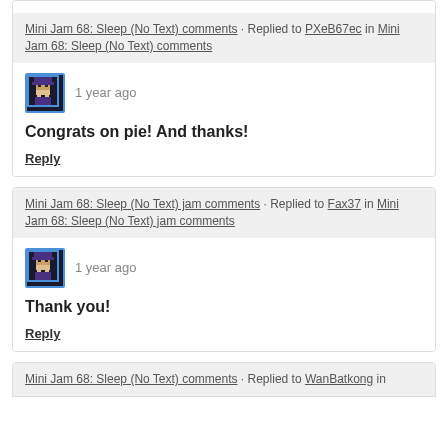Mini Jam 68: Sleep (No Text) comments · Replied to PXeB67ec in Mini Jam 68: Sleep (No Text) comments
[Figure (illustration): Pixel art avatar icon of a bearded wizard/character with dark background and blue border]
1 year ago
Congrats on pie! And thanks!
Reply
Mini Jam 68: Sleep (No Text) jam comments · Replied to Fax37 in Mini Jam 68: Sleep (No Text) jam comments
[Figure (illustration): Pixel art avatar icon of a bearded wizard/character with dark background and blue border]
1 year ago
Thank you!
Reply
Mini Jam 68: Sleep (No Text) comments · Replied to WanBatkong in